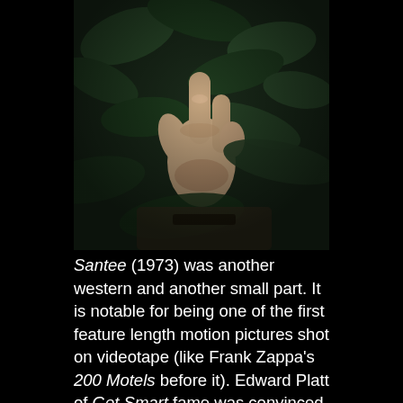[Figure (photo): A close-up photograph of a hand against a foliage/green leaf background, dark and slightly blurry, appears to be a still from a film or video]
Santee (1973) was another western and another small part. It is notable for being one of the first feature length motion pictures shot on videotape (like Frank Zappa's 200 Motels before it). Edward Platt of Get Smart fame was convinced that video filming would be the wave of the future and invested thousands and